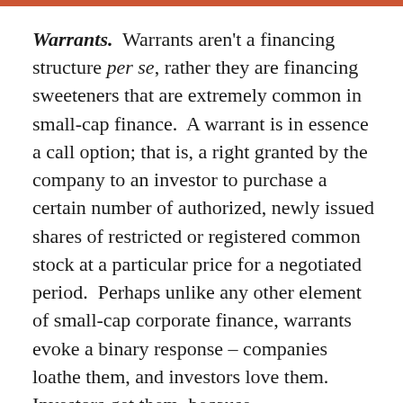Warrants.  Warrants aren't a financing structure per se, rather they are financing sweeteners that are extremely common in small-cap finance.  A warrant is in essence a call option; that is, a right granted by the company to an investor to purchase a certain number of authorized, newly issued shares of restricted or registered common stock at a particular price for a negotiated period.  Perhaps unlike any other element of small-cap corporate finance, warrants evoke a binary response – companies loathe them, and investors love them.  Investors get them, because